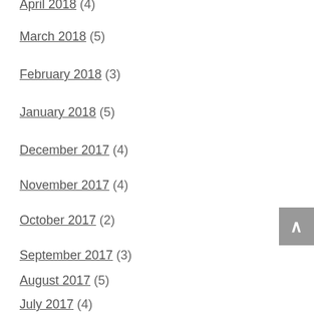April 2018 (4)
March 2018 (5)
February 2018 (3)
January 2018 (5)
December 2017 (4)
November 2017 (4)
October 2017 (2)
September 2017 (3)
August 2017 (5)
July 2017 (4)